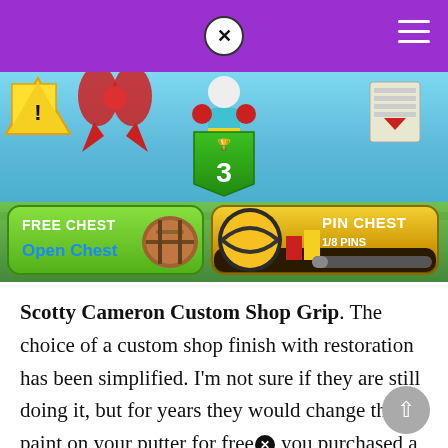[Figure (screenshot): Mobile game screenshot showing a bowling/pin game interface with Free Chest and Pin Chest buttons, a green badge with the number 3, and decorative ribbons and trophies on a sky/green background.]
Scotty Cameron Custom Shop Grip. The choice of a custom shop finish with restoration has been simplified. I'm not sure if they are still doing it, but for years they would change the paint on your putter for free [X icon] you purchased a